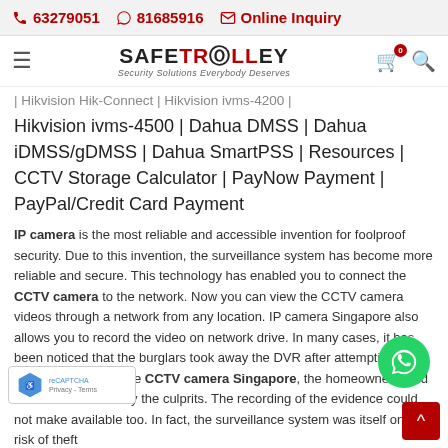63279051  81685916  Online Inquiry
[Figure (logo): SafeTrolley logo with tagline 'Security Solutions Everybody Deserves' and hamburger menu, cart (0), search icons]
| Hikvision Hik-Connect | Hikvision ivms-4200 | Hikvision ivms-4500 | Dahua DMSS | Dahua iDMSS/gDMSS | Dahua SmartPSS | Resources | CCTV Storage Calculator | PayNow Payment | PayPal/Credit Card Payment
IP camera is the most reliable and accessible invention for foolproof security. Due to this invention, the surveillance system has become more reliable and secure. This technology has enabled you to connect the CCTV camera to the network. Now you can view the CCTV camera videos through a network from any location. IP camera Singapore also allows you to record the video on network drive. In many cases, it has been noticed that the burglars took away the DVR after attempting the act. After installing the CCTV camera Singapore, the homeowner could not be able to identify the culprits. The recording of the evidence could not make available too. In fact, the surveillance system was itself on the risk of theft